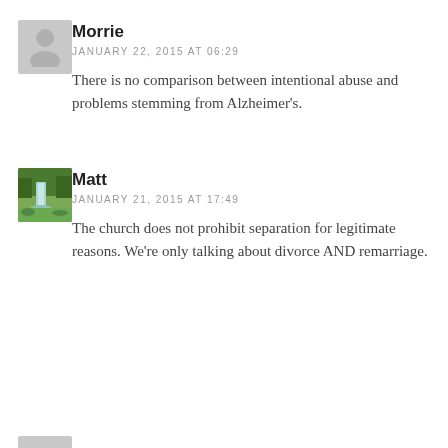[Figure (illustration): Gray placeholder avatar icon for commenter Morrie]
Morrie
JANUARY 22, 2015 AT 06:29
There is no comparison between intentional abuse and problems stemming from Alzheimer's.
[Figure (photo): Small photo thumbnail showing a waterfall in a forested setting, avatar for commenter Matt]
Matt
JANUARY 21, 2015 AT 17:49
The church does not prohibit separation for legitimate reasons. We're only talking about divorce AND remarriage.